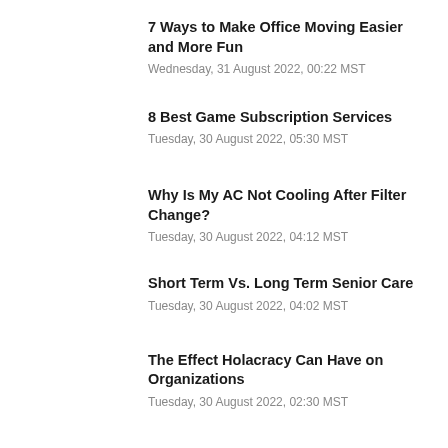7 Ways to Make Office Moving Easier and More Fun
Wednesday, 31 August 2022, 00:22 MST
8 Best Game Subscription Services
Tuesday, 30 August 2022, 05:30 MST
Why Is My AC Not Cooling After Filter Change?
Tuesday, 30 August 2022, 04:12 MST
Short Term Vs. Long Term Senior Care
Tuesday, 30 August 2022, 04:02 MST
The Effect Holacracy Can Have on Organizations
Tuesday, 30 August 2022, 02:30 MST